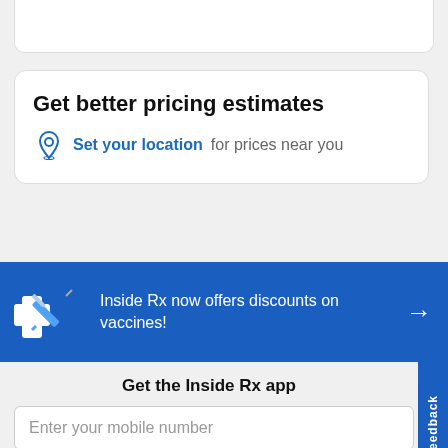[Figure (screenshot): Partial top white card strip at the top of the page]
Get better pricing estimates
Set your location for prices near you
Inside Rx now offers discounts on vaccines!
Get the Inside Rx app
Enter your mobile number
Send
Feedback